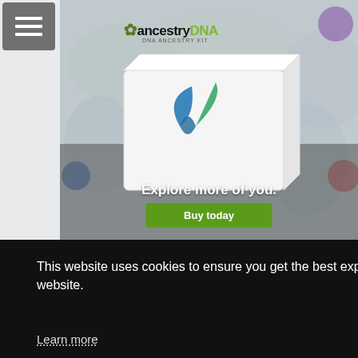[Figure (screenshot): AncestryDNA advertisement banner showing a DNA kit box with a decorative leaf logo on a world map background. Text reads 'Explore more of you.' with a green 'Buy today' button.]
This website uses cookies to ensure you get the best experience on our website.
Learn more
Got it!